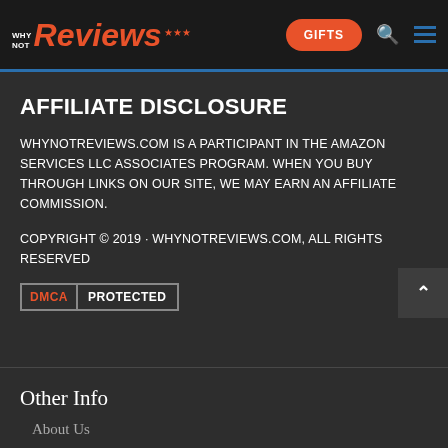WHY NOT Reviews — GIFTS
AFFILIATE DISCLOSURE
WHYNOTREVIEWS.COM IS A PARTICIPANT IN THE AMAZON SERVICES LLC ASSOCIATES PROGRAM. WHEN YOU BUY THROUGH LINKS ON OUR SITE, WE MAY EARN AN AFFILIATE COMMISSION.
COPYRIGHT © 2019 · WHYNOTREVIEWS.COM, ALL RIGHTS RESERVED
[Figure (logo): DMCA PROTECTED badge with red DMCA text on left and white PROTECTED text on right, bordered box]
Other Info
About Us